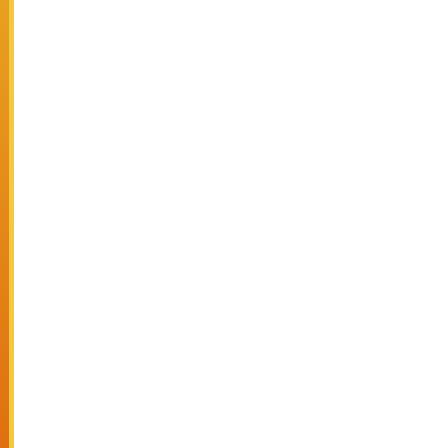| No. | Date | Title |
| --- | --- | --- |
| 138. |  | GOLDEN CH... |
| 139. | 23/07/2021 | Press Relea...
(P.G.)-2021 |
| 140. | 20/07/2021 | Press Relea... |
| 141. | 16/07/2021 | Press releas...
Integrated C... |
| 142. | 08/07/2021 | Golden Char...
University to...
earlier grante... |
| 143. | 02/07/2021 | Press Relea... |
| 144. | 02/07/2021 | Press releas... |
| 145. | 30/06/2021 | Press Relea... |
| 146. | 30/06/2021 | Press Relea... |
| 147. | 26/06/2021 | ONLINE EXA...
- NO ADMIT...
SIGNATURE... |
| 148. | 25/06/2021 | Press Relea... |
| 149. | 25/06/2021 | Press Relea... |
| 150. | 22/06/2021 | Quotation fo...
(with carriag... |